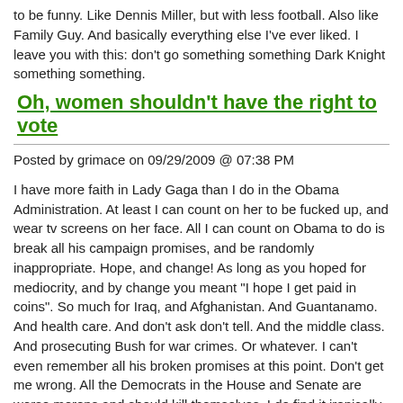to be funny. Like Dennis Miller, but with less football. Also like Family Guy. And basically everything else I've ever liked. I leave you with this: don't go something something Dark Knight something something.
Oh, women shouldn't have the right to vote
Posted by grimace on 09/29/2009 @ 07:38 PM
I have more faith in Lady Gaga than I do in the Obama Administration. At least I can count on her to be fucked up, and wear tv screens on her face. All I can count on Obama to do is break all his campaign promises, and be randomly inappropriate. Hope, and change! As long as you hoped for mediocrity, and by change you meant "I hope I get paid in coins". So much for Iraq, and Afghanistan. And Guantanamo. And health care. And don't ask don't tell. And the middle class. And prosecuting Bush for war crimes. Or whatever. I can't even remember all his broken promises at this point. Don't get me wrong. All the Democrats in the House and Senate are worse morons and should kill themselves. I do find it ironically amusing that by dying, Ted Kennedy murdered his life's work. But, whatever. My life's work is a cartoon about animate containers, and websites. So hopefully I won't get trapped in the art section of the library.
I've been breaking out in hives all over my hands the past few days. That only happens when I'm either really stressed out, and the thought of losing the FedEx Pope forever is really getting to me. But, for real. There are few things that have been constants in my life, especially the last decade. Conan was about all that's left. Conan, and jerkin it. Never at the same time. Well, there was that one time...